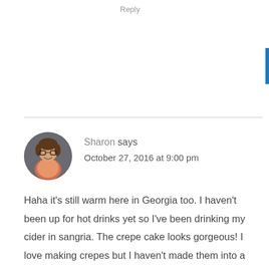Reply
Sharon says
October 27, 2016 at 9:00 pm
Haha it’s still warm here in Georgia too. I haven’t been up for hot drinks yet so I’ve been drinking my cider in sangria. The crepe cake looks gorgeous! I love making crepes but I haven’t made them into a cake yet. You make it look so easy so I should give it a try!